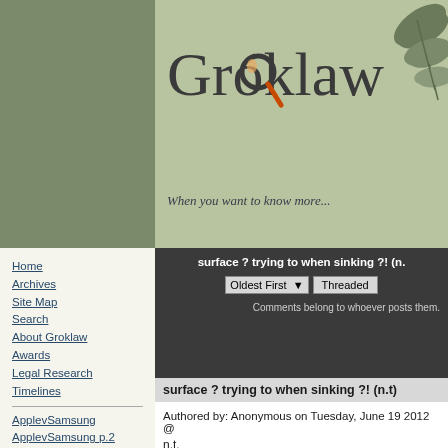[Figure (logo): Groklaw website logo with magnifying glass and leaf decorations on green background, tagline: When you want to know more...]
surface ? trying to when sinking ?! (n.t)
surface ? trying to when sinking ?! (n.t)
Authored by: Anonymous on Tuesday, June 19 2012 @
n.t.
[ Reply to This | Parent | # ]
Home
Archives
Site Map
Search
About Groklaw
Awards
Legal Research
Timelines
ApplevSamsung
ApplevSamsung p.2
ArchiveExplorer
Autozone
Bilski
Cases
Cast: Lawyers
Comes v. MS
Contracts/Documents
Courts
DRM
Gordon v MS
GPL
Grokdoc
HTML How To